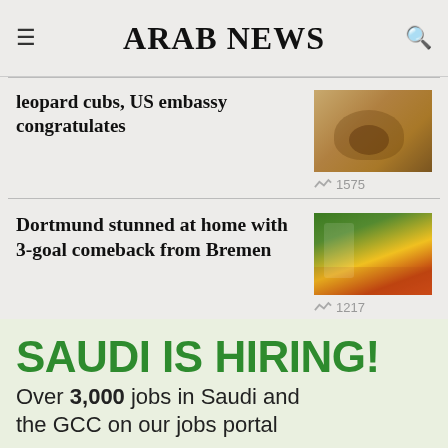ARAB NEWS
leopard cubs, US embassy congratulates
1575
Dortmund stunned at home with 3-goal comeback from Bremen
1217
[Figure (infographic): Advertisement banner: SAUDI IS HIRING! Over 3,000 jobs in Saudi and the GCC on our jobs portal]